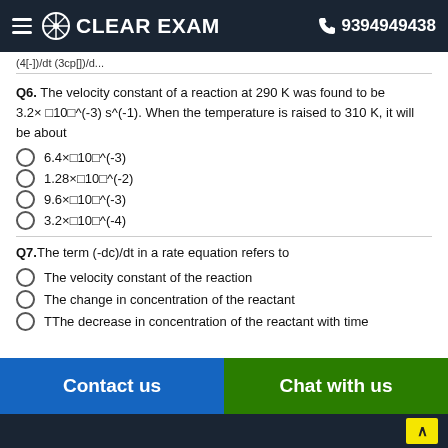CLEAR EXAM  9394949438
(4[-])/dt (3cp[]/d...
Q6. The velocity constant of a reaction at 290 K was found to be 3.2× [10]^(-3) s^(-1). When the temperature is raised to 310 K, it will be about
6.4×[10]^(-3)
1.28×[10]^(-2)
9.6×[10]^(-3)
3.2×[10]^(-4)
Q7.The term (-dc)/dt in a rate equation refers to
The velocity constant of the reaction
The change in concentration of the reactant
TThe decrease in concentration of the reactant with time
Contact us   Chat with us